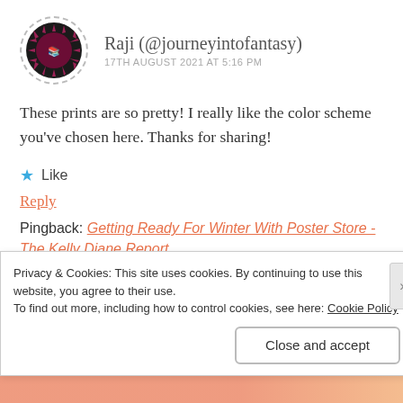Raji (@journeyintofantasy)
17TH AUGUST 2021 AT 5:16 PM
These prints are so pretty! I really like the color scheme you've chosen here. Thanks for sharing!
★ Like
Reply
Pingback: Getting Ready For Winter With Poster Store - The Kelly Diane Report
Pingback: Starting Afresh With The Help Of Poster Store - The Kelly Diane Report
Privacy & Cookies: This site uses cookies. By continuing to use this website, you agree to their use.
To find out more, including how to control cookies, see here: Cookie Policy
Close and accept